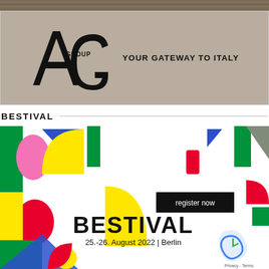[Figure (logo): AG Group logo with tagline 'YOUR GATEWAY TO ITALY' on a beige/tan background with a stone wall photo strip at top]
BESTIVAL
[Figure (illustration): Bestival event poster with colorful geometric shapes (green, blue, yellow, red, pink) and text 'BESTIVAL 25.-26. August 2022 | Berlin' with a 'register now' button overlay]